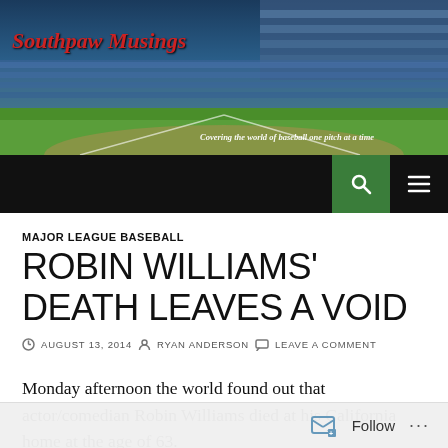[Figure (photo): Southpaw Musings blog header with baseball stadium background and red cursive logo. Tagline reads: Covering the world of baseball one pitch at a time]
MAJOR LEAGUE BASEBALL
ROBIN WILLIAMS' DEATH LEAVES A VOID
AUGUST 13, 2014  RYAN ANDERSON  LEAVE A COMMENT
Monday afternoon the world found out that actor/comedian Robin Williams died at his California home at the age of 63.